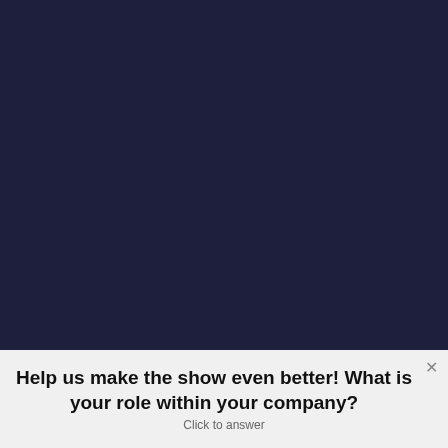37:13 — 25.6MB)
Subscribe: Google Podcasts | Spotify | Amazon Music | Pandora | iHeartRadio | Stitcher | Email | RSS
In Episode 239, Ben and Scott take a detour to talk about Azure Resource Explorer (no, not that Azure Resource Explorer, the other one) and then dive in the recently announced Windows 365 offering. (more...)
Help us make the show even better! What is your role within your company? Click to answer